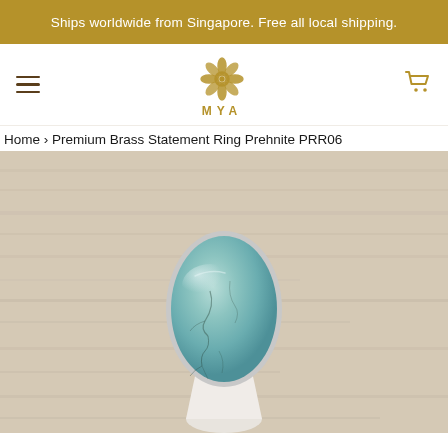Ships worldwide from Singapore. Free all local shipping.
[Figure (logo): MYA brand logo — geometric floral mandala in gold with text MYA below]
Home › Premium Brass Statement Ring Prehnite PRR06
[Figure (photo): Close-up photo of a silver statement ring with a large oval prehnite stone (pale blue-green with dark dendritic inclusions) displayed on a white ring holder against a light wood background]